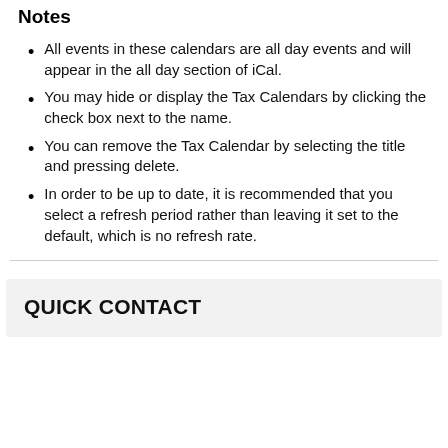Notes
All events in these calendars are all day events and will appear in the all day section of iCal.
You may hide or display the Tax Calendars by clicking the check box next to the name.
You can remove the Tax Calendar by selecting the title and pressing delete.
In order to be up to date, it is recommended that you select a refresh period rather than leaving it set to the default, which is no refresh rate.
QUICK CONTACT